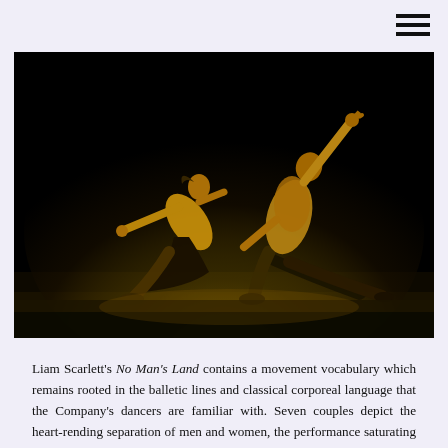[Figure (photo): Two dancers performing on a dark stage with dramatic lighting from below. A female dancer in dark clothing kneels and leans back with one arm extended, and a male shirtless dancer in dark trousers performs a deep lunge with arm raised upward. Both are lit by warm golden-yellow stage lighting against a black background.]
Liam Scarlett's No Man's Land contains a movement vocabulary which remains rooted in the balletic lines and classical corporeal language that the Company's dancers are familiar with. Seven couples depict the heart-rending separation of men and women, the performance saturating the stage with the